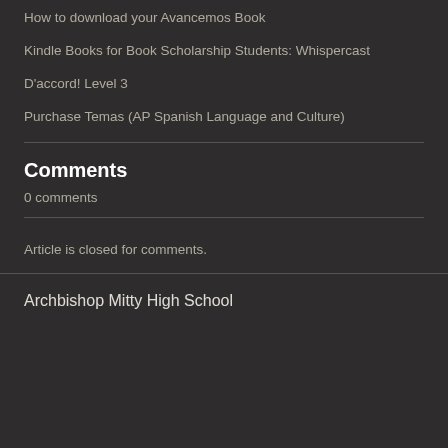How to download your Avancemos Book
Kindle Books for Book Scholarship Students: Whispercast
D'accord! Level 3
Purchase Temas (AP Spanish Language and Culture)
Comments
0 comments
Article is closed for comments.
Archbishop Mitty High School